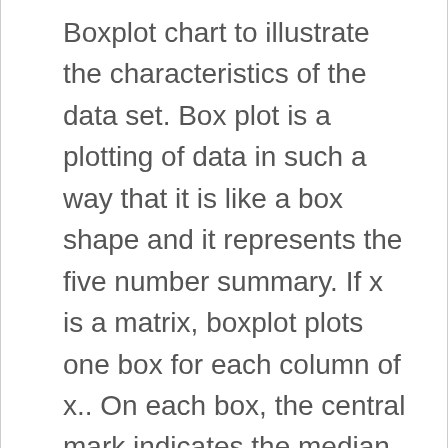Boxplot chart to illustrate the characteristics of the data set. Box plot is a plotting of data in such a way that it is like a box shape and it represents the five number summary. If x is a matrix, boxplot plots one box for each column of x.. On each box, the central mark indicates the median, and the bottom and top edges of the box indicate the 25th and 75th percentiles, respectively. The function geom_boxplot() is used. Box Plot with … To construct this diagram, we first draw an equal interval scale on which to make our box plot.Do not just draw a boxplot shape and label points with the numbers from the 5-number summary. Highcharts Demo: Box plot. This python Box plot tutorial also includes the steps to create Horizontal Box plot, Vertical Box plot and box plot with notch. An example includes test scores between different universities, change in data